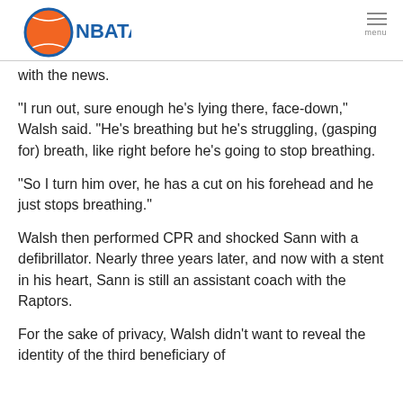NBATA logo and menu
with the news.
"I run out, sure enough he's lying there, face-down," Walsh said. "He's breathing but he's struggling, (gasping for) breath, like right before he's going to stop breathing.
"So I turn him over, he has a cut on his forehead and he just stops breathing."
Walsh then performed CPR and shocked Sann with a defibrillator. Nearly three years later, and now with a stent in his heart, Sann is still an assistant coach with the Raptors.
For the sake of privacy, Walsh didn't want to reveal the identity of the third beneficiary of